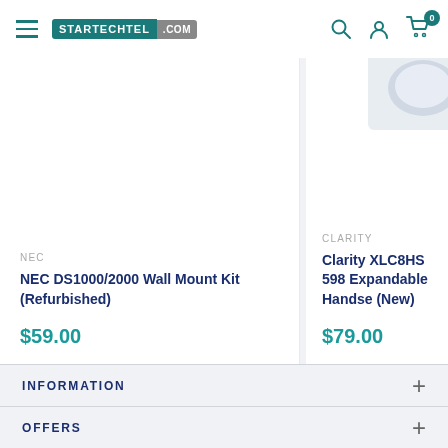STARTECHTEL .COM — navigation header with hamburger menu, search, account, and cart icons
NEC
NEC DS1000/2000 Wall Mount Kit (Refurbished)
$59.00
CLARITY
Clarity XLC8HS 598 Expandable Handse... (New)
$79.00
INFORMATION
OFFERS